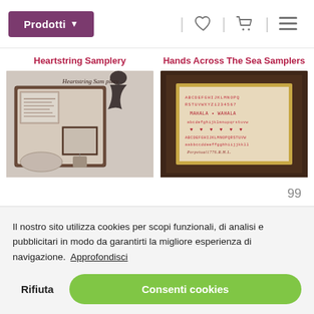Prodotti
Heartstring Samplery
[Figure (photo): Cross-stitch sampler catalog cover for Heartstring Samplery brand]
Hands Across The Sea Samplers
[Figure (photo): Framed cross-stitch sampler in gold frame with dark brown border for Hands Across The Sea Samplers]
Il nostro sito utilizza cookies per scopi funzionali, di analisi e pubblicitari in modo da garantirti la migliore esperienza di navigazione.  Approfondisci
Rifiuta
Consenti cookies